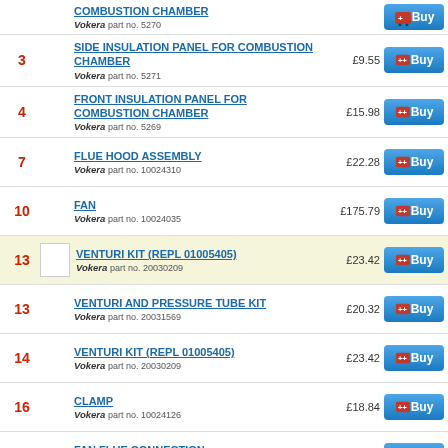COMBUSTION CHAMBER, Vokera part no. 5270, price £(cut off), Buy
3 - SIDE INSULATION PANEL FOR COMBUSTION CHAMBER, Vokera part no. 5271, £9.55, Buy
4 - FRONT INSULATION PANEL FOR COMBUSTION CHAMBER, Vokera part no. 5269, £15.98, Buy
7 - FLUE HOOD ASSEMBLY, Vokera part no. 10024310, £22.28, Buy
10 - FAN, Vokera part no. 10024035, £175.79, Buy
13 - VENTURI KIT (REPL 01005405), Vokera part no. 20030209, £23.42, Buy
13 - VENTURI AND PRESSURE TUBE KIT, Vokera part no. 20031569, £20.32, Buy
14 - VENTURI KIT (REPL 01005405), Vokera part no. 20030209, £23.42, Buy
16 - CLAMP, Vokera part no. 10024126, £18.84, Buy
19 - FAN FLUE CONNECTION, Vokera part no. 10024137, £37.94, Buy
20 - BLOCK WITH COMBUSTION ANALYSIS CHECK, Vokera part no. 10026933, £9.45, Buy